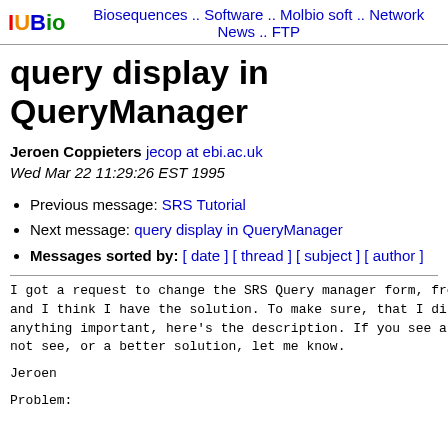IUBio  Biosequences .. Software .. Molbio soft .. Network News .. FTP
query display in QueryManager
Jeroen Coppieters  jecop at ebi.ac.uk
Wed Mar 22 11:29:26 EST 1995
Previous message: SRS Tutorial
Next message: query display in QueryManager
Messages sorted by: [ date ] [ thread ] [ subject ] [ author ]
I got a request to change the SRS Query manager form, fro
and I think I have the solution. To make sure, that I di
anything important, here's the description. If you see a
not see, or a better solution, let me know.
Jeroen
Problem: